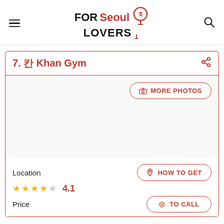FOR Seoul LOVERS
7. 칸 Khan Gym
[Figure (photo): Photo area for Khan Gym with a 'MORE PHOTOS' button overlay]
Location
★★★★☆ 4.1
Price
HOW TO GET
TO CALL